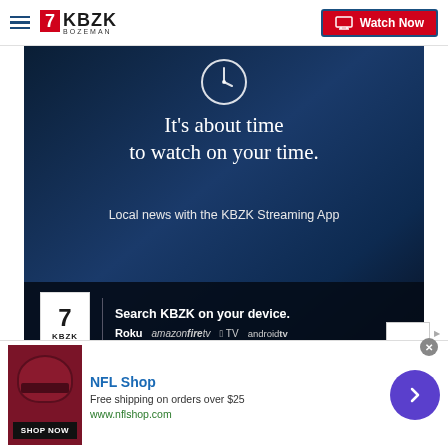≡ 7 KBZK BOZEMAN | Watch Now
[Figure (screenshot): KBZK streaming app advertisement banner on dark blue background showing a clock icon, text 'It's about time to watch on your time.', 'Local news with the KBZK Streaming App', KBZK 7 logo, and platform logos for Roku, Amazon Fire TV, Apple TV, and Android TV with text 'Search KBZK on your device.']
Get the FREE KBZK Streaming
[Figure (screenshot): NFL Shop advertisement banner with red helmet image, 'SHOP NOW' button, NFL Shop brand name, 'Free shipping on orders over $25', 'www.nflshop.com', and a purple arrow button on the right]